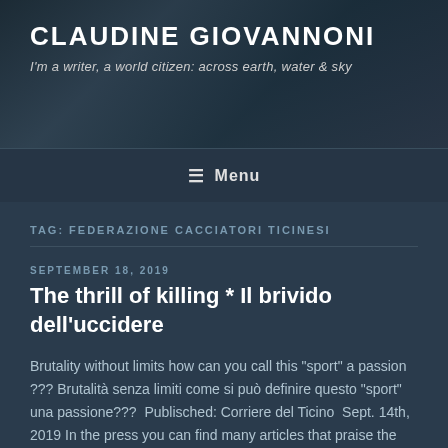CLAUDINE GIOVANNONI
I'm a writer, a world citizen: across earth, water & sky
≡ Menu
TAG: FEDERAZIONE CACCIATORI TICINESI
SEPTEMBER 18, 2019
The thrill of killing * Il brivido dell'uccidere
Brutality without limits how can you call this "sport" a passion ??? Brutalità senza limiti come si può definire questo "sport" una passione???  Publisched: Corriere del Ticino  Sept. 14th, 2019 In the press you can find many articles that praise the value of this "discipline",